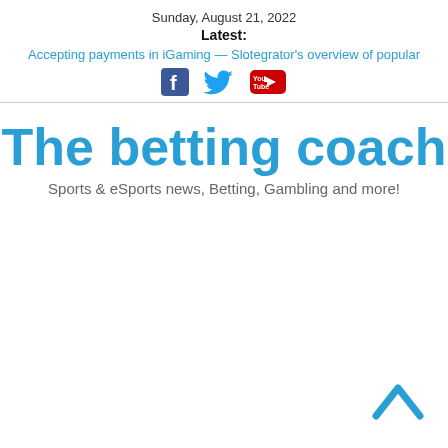Sunday, August 21, 2022
Latest:
Accepting payments in iGaming — Slotegrator's overview of popular
[Figure (illustration): Social media icons: Facebook (dark blue f), Twitter (light blue bird), YouTube (red/white play button)]
The betting coach
Sports & eSports news, Betting, Gambling and more!
[Figure (illustration): Chevron/caret up arrow in light blue at bottom right of page]